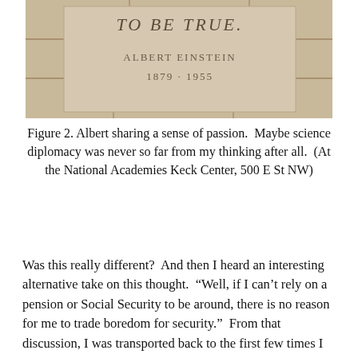[Figure (photo): Photo of a stone wall plaque with carved text reading 'TO BE TRUE.' attributed to ALBERT EINSTEIN 1879 - 1955]
Figure 2. Albert sharing a sense of passion.  Maybe science diplomacy was never so far from my thinking after all.  (At the National Academies Keck Center, 500 E St NW)
Was this really different?  And then I heard an interesting alternative take on this thought.  “Well, if I can’t rely on a pension or Social Security to be around, there is no reason for me to trade boredom for security.”  From that discussion, I was transported back to the first few times I